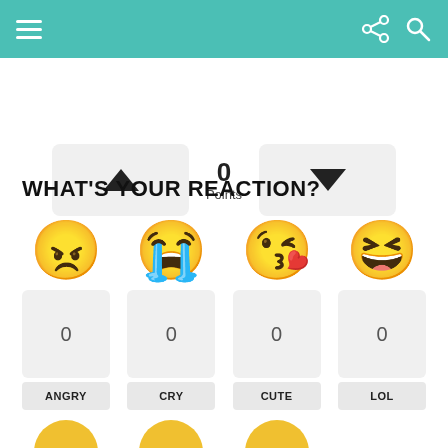Navigation bar with menu, share, and search icons
[Figure (infographic): Vote up/down widget showing 0 Points]
WHAT'S YOUR REACTION?
[Figure (infographic): Reaction emoji grid with ANGRY, CRY, CUTE, LOL each showing 0 reactions]
[Figure (infographic): Partially visible bottom row of emoji reactions]